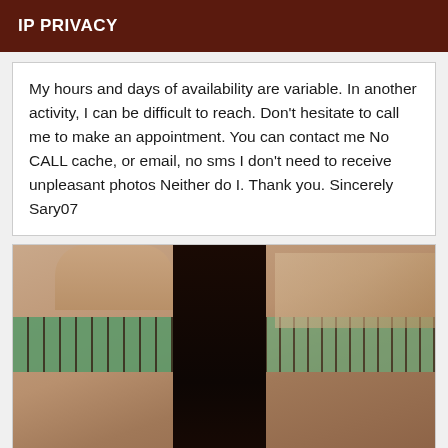IP PRIVACY
My hours and days of availability are variable. In another activity, I can be difficult to reach. Don't hesitate to call me to make an appointment. You can contact me No CALL cache, or email, no sms I don't need to receive unpleasant photos Neither do I. Thank you. Sincerely Sary07
[Figure (photo): A woman with long dark hair seen from behind in a bathroom setting with green mosaic tile accents]